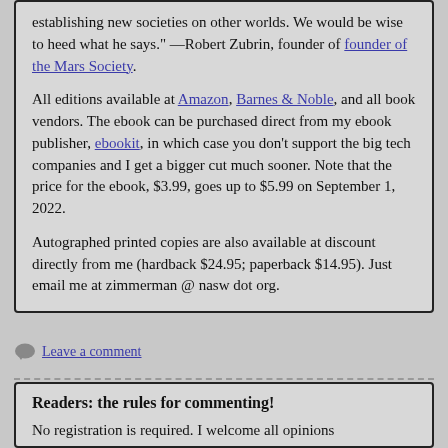establishing new societies on other worlds. We would be wise to heed what he says." —Robert Zubrin, founder of founder of the Mars Society.
All editions available at Amazon, Barnes & Noble, and all book vendors. The ebook can be purchased direct from my ebook publisher, ebookit, in which case you don't support the big tech companies and I get a bigger cut much sooner. Note that the price for the ebook, $3.99, goes up to $5.99 on September 1, 2022.
Autographed printed copies are also available at discount directly from me (hardback $24.95; paperback $14.95). Just email me at zimmerman @ nasw dot org.
Leave a comment
Readers: the rules for commenting!
No registration is required. I welcome all opinions